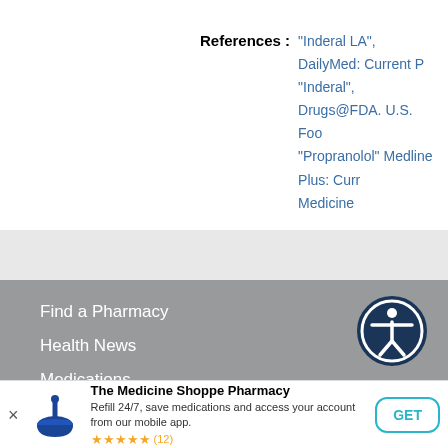References
"Inderal LA", DailyMed: Current P
"Inderal", Drugs@FDA. U.S. Foo
"Propranolol" Medline Plus: Curr
Medicine
Find a Pharmacy
Health News
Medications
Conditions
RxCoupons
The Medicine Shoppe Pharmacy
Refill 24/7, save medications and access your account from our mobile app.
★★★★★ (12)